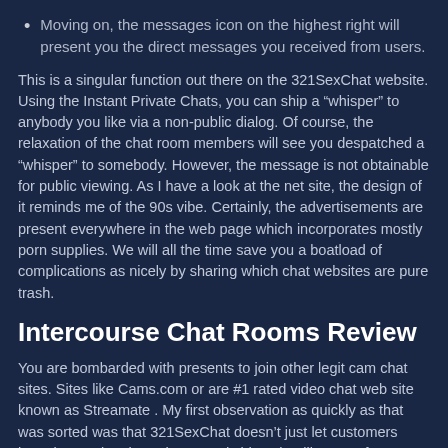Moving on, the messages icon on the highest right will present you the direct messages you received from users.
This is a singular function out there on the 321SexChat website. Using the Instant Private Chats, you can ship a “whisper” to anybody you like via a non-public dialog. Of course, the relaxation of the chat room members will see you despatched a “whisper” to somebody. However, the message is not obtainable for public viewing. As I have a look at the net site, the design of it reminds me of the 90s vibe. Certainly, the advertisements are present everywhere in the web page which incorporates mostly porn supplies. We will all the time save you a boatload of complications as nicely by sharing which chat websites are pure trash.
Intercourse Chat Rooms Review
You are bombarded with presents to join other legit cam chat sites. Sites like Cams.com or are #1 rated video chat web site known as Streamate . My first observation as quickly as that was sorted was that 321SexChat doesn’t just let customers have interaction through text and video chat like most free chatweb sites.